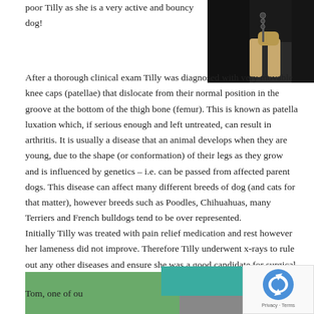poor Tilly as she is a very active and bouncy dog!
[Figure (photo): Photo of a dog being examined, dark background, showing dog's legs/paws area]
After a thorough clinical exam Tilly was diagnosed with very movable knee caps (patellae) that dislocate from their normal position in the groove at the bottom of the thigh bone (femur). This is known as patella luxation which, if serious enough and left untreated, can result in arthritis. It is usually a disease that an animal develops when they are young, due to the shape (or conformation) of their legs as they grow and is influenced by genetics – i.e. can be passed from affected parent dogs. This disease can affect many different breeds of dog (and cats for that matter), however breeds such as Poodles, Chihuahuas, many Terriers and French bulldogs tend to be over represented.
Initially Tilly was treated with pain relief medication and rest however her lameness did not improve. Therefore Tilly underwent x-rays to rule out any other diseases and ensure she was a good candidate for surgical treatment, which she was.
Tom, one of ou...
[Figure (photo): Partial bottom image strip showing green and grey tones, a logo/icon visible]